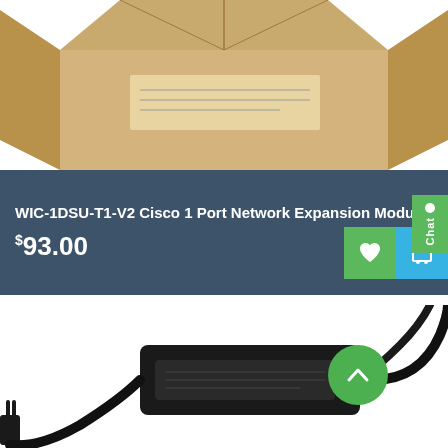[Figure (photo): Cardboard box product image on white background, partially cropped at top]
WIC-1DSU-T1-V2 Cisco 1 Port Network Expansion Module
$93.00
[Figure (photo): Black power adapter/charger with cable and plug, white background, with green scroll-to-top button]